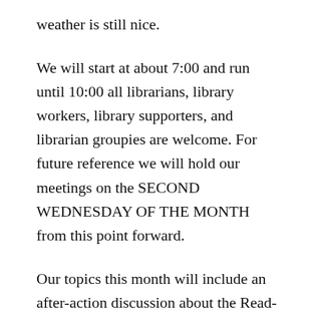weather is still nice.
We will start at about 7:00 and run until 10:00 all librarians, library workers, library supporters, and librarian groupies are welcome. For future reference we will hold our meetings on the SECOND WEDNESDAY OF THE MONTH from this point forward.
Our topics this month will include an after-action discussion about the Read-In and Postcard Campaign as well as brainstorming and organizing for the next round of budget battles.